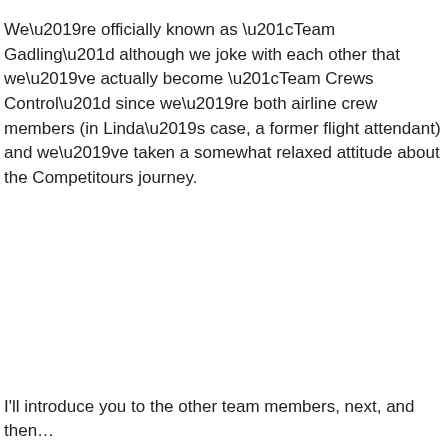We're officially known as “Team Gadling” although we joke with each other that we've actually become “Team Crews Control” since we're both airline crew members (in Linda’s case, a former flight attendant) and we’ve taken a somewhat relaxed attitude about the Competitours journey.
I'll introduce you to the other team members, next, and then...